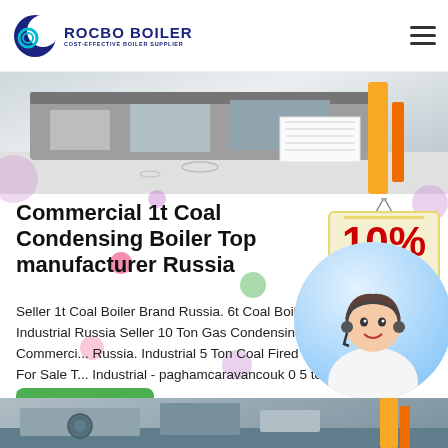[Figure (logo): Rocbo Boiler logo with crescent moon icon and text 'ROCBO BOILER - COST-EFFECTIVE BOILER SUPPLIER']
[Figure (photo): Industrial boiler equipment in a factory setting showing machinery and yellow pipe]
Commercial 1t Coal Condensing Boiler Top manufacturer Russia
Seller 1t Coal Boiler Brand Russia. 6t Coal Boiler Industrial Russia Seller 10 Ton Gas Condensing Boiler Commercial Russia. Industrial 5 Ton Coal Fired Boiler For Sale Industrial - paghamcaravancouk 0 5 to 20 Indu...
[Figure (infographic): 10% Discount promotional badge with red and cream colors]
[Figure (photo): Customer service representative woman with headset smiling]
[Figure (photo): Bottom strip showing industrial boiler equipment]